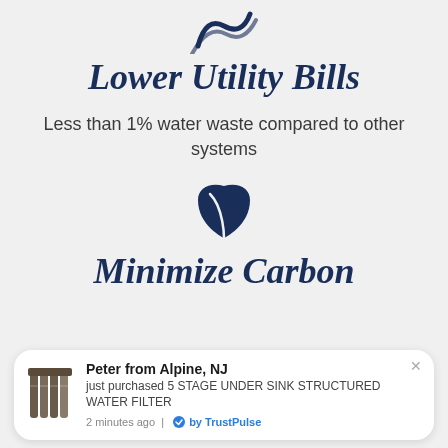[Figure (illustration): Dark blue water/wave icon partially visible at top of page]
Lower Utility Bills
Less than 1% water waste compared to other systems
[Figure (illustration): Dark blue leaf icon]
Minimize Carbon
Peter from Alpine, NJ just purchased 5 STAGE UNDER SINK STRUCTURED WATER FILTER 2 minutes ago | by TrustPulse